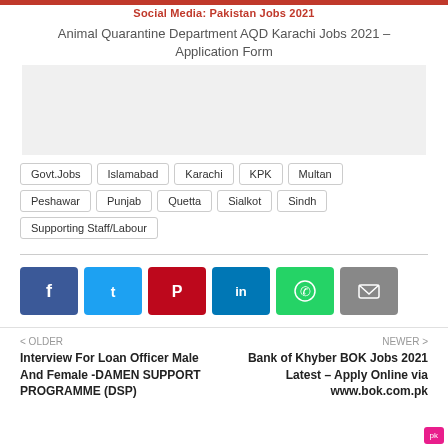Social Media: Pakistan Jobs 2021
Animal Quarantine Department AQD Karachi Jobs 2021 – Application Form
[Figure (other): Advertisement placeholder area]
Govt.Jobs
Islamabad
Karachi
KPK
Multan
Peshawar
Punjab
Quetta
Sialkot
Sindh
Supporting Staff/Labour
[Figure (infographic): Social share buttons: Facebook, Twitter, Pinterest, LinkedIn, WhatsApp, Email]
< OLDER
Interview For Loan Officer Male And Female -DAMEN SUPPORT PROGRAMME (DSP)
NEWER >
Bank of Khyber BOK Jobs 2021 Latest – Apply Online via www.bok.com.pk